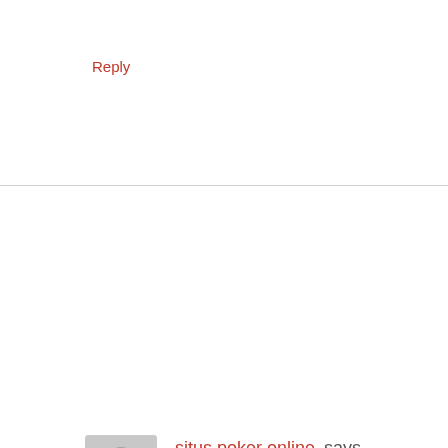Reply
situs poker online says
March 13, 2020 at 4:15 am
A fascinating discussion is worth comment. I believe that you need to publish more about this subject, it may not be a taboo matter but generally people do not speak about these subjects. To the next! Kind regards!!
Reply